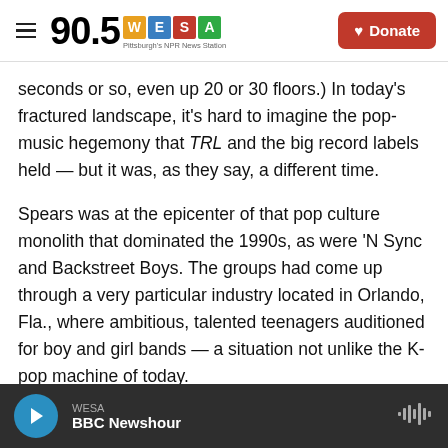90.5 WESA — Pittsburgh's NPR News Station
seconds or so, even up 20 or 30 floors.) In today's fractured landscape, it's hard to imagine the pop-music hegemony that TRL and the big record labels held — but it was, as they say, a different time.
Spears was at the epicenter of that pop culture monolith that dominated the 1990s, as were 'N Sync and Backstreet Boys. The groups had come up through a very particular industry located in Orlando, Fla., where ambitious, talented teenagers auditioned for boy and girl bands — a situation not unlike the K-pop machine of today.
WESA — BBC Newshour